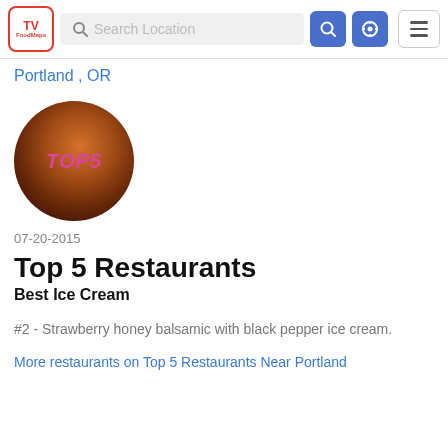[Figure (screenshot): TV FoodMaps website header with logo, search bar, and navigation buttons]
Portland , OR
[Figure (photo): Circular food photo with TOP5 text overlay in magenta italic letters]
07-20-2015
Top 5 Restaurants
Best Ice Cream
#2 - Strawberry honey balsamic with black pepper ice cream.
More restaurants on Top 5 Restaurants Near Portland